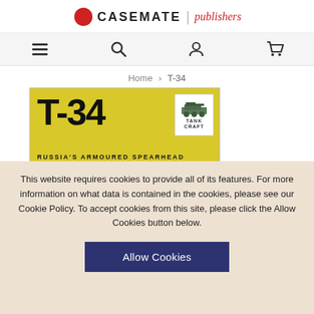CASEMATE | publishers
[Figure (screenshot): Navigation bar with menu, search, account, and cart icons]
Home > T-34
[Figure (illustration): Book cover for T-34: Russia's Armoured Spearhead with Tank Craft badge]
This website requires cookies to provide all of its features. For more information on what data is contained in the cookies, please see our Cookie Policy. To accept cookies from this site, please click the Allow Cookies button below.